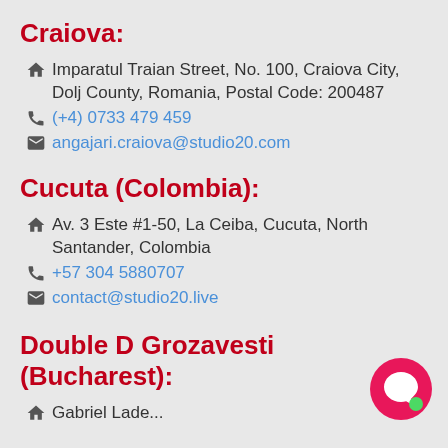Craiova:
Imparatul Traian Street, No. 100, Craiova City, Dolj County, Romania, Postal Code: 200487
(+4) 0733 479 459
angajari.craiova@studio20.com
Cucuta (Colombia):
Av. 3 Este #1-50, La Ceiba, Cucuta, North Santander, Colombia
+57 304 5880707
contact@studio20.live
Double D Grozavesti (Bucharest):
Gabriel Lade... (partial)